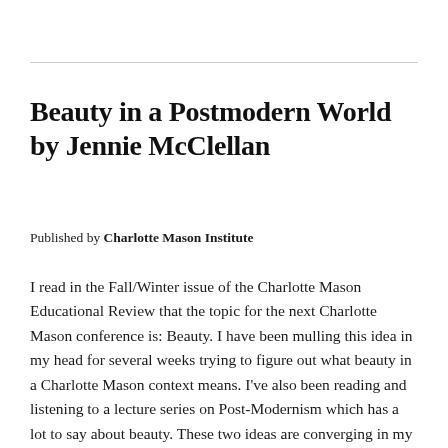Beauty in a Postmodern World by Jennie McClellan
Published by Charlotte Mason Institute
I read in the Fall/Winter issue of the Charlotte Mason Educational Review that the topic for the next Charlotte Mason conference is: Beauty. I have been mulling this idea in my head for several weeks trying to figure out what beauty in a Charlotte Mason context means. I've also been reading and listening to a lecture series on Post-Modernism which has a lot to say about beauty. These two ideas are converging in my mind,